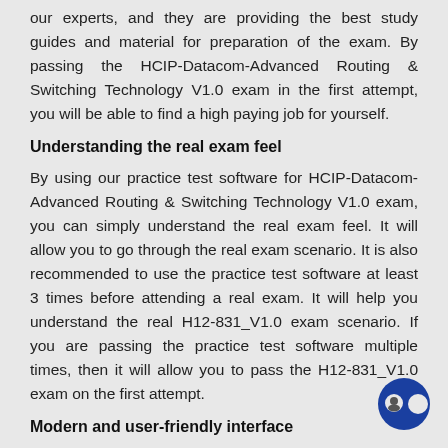our experts, and they are providing the best study guides and material for preparation of the exam. By passing the HCIP-Datacom-Advanced Routing & Switching Technology V1.0 exam in the first attempt, you will be able to find a high paying job for yourself.
Understanding the real exam feel
By using our practice test software for HCIP-Datacom-Advanced Routing & Switching Technology V1.0 exam, you can simply understand the real exam feel. It will allow you to go through the real exam scenario. It is also recommended to use the practice test software at least 3 times before attending a real exam. It will help you understand the real H12-831_V1.0 exam scenario. If you are passing the practice test software multiple times, then it will allow you to pass the H12-831_V1.0 exam on the first attempt.
Modern and user-friendly interface
You won't be able to find the practice test software with user-friendly interface. However, at Dumps4Prep, we offer modern and user-friendly interface for the practice test